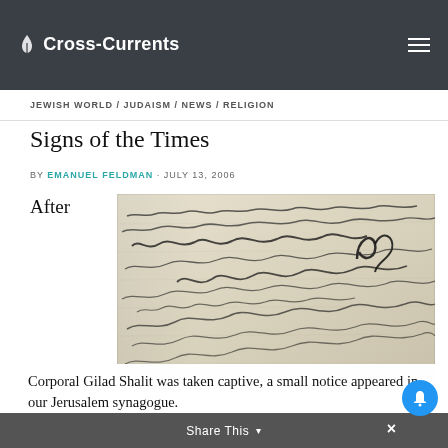Cross-Currents
JEWISH WORLD / JUDAISM / NEWS / RELIGION
Signs of the Times
BY EMANUEL FELDMAN · JULY 13, 2006
After
[Figure (photo): Close-up photograph of handwritten cursive text on aged paper]
Corporal Gilad Shalit was taken captive, a small notice appeared in our Jerusalem synagogue.
Share This